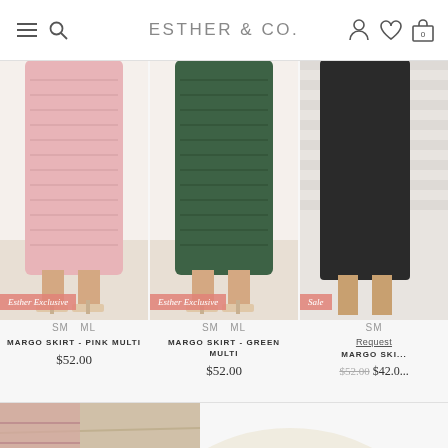ESTHER & CO.
[Figure (photo): Pink knit midi skirt product photo, lower half of model, with Esther Exclusive badge]
Esther Exclusive
SM   ML
MARGO SKIRT - PINK MULTI
$52.00
[Figure (photo): Green knit midi skirt product photo, lower half of model, with Esther Exclusive badge]
Esther Exclusive
SM   ML
MARGO SKIRT - GREEN MULTI
$52.00
[Figure (photo): Black skirt product photo, lower half of model, with Sale badge]
Sale
SM
Request
MARGO SKI...
$52.00  $42.0...
[Figure (photo): Close-up photo of cream/white scrunchies with brown polka dot pattern on a wooden and woven surface]